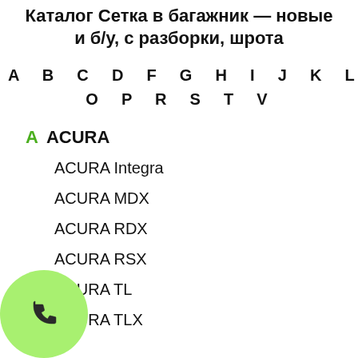Каталог Сетка в багажник — новые и б/у, с разборки, шрота
A B C D F G H I J K L M N O P R S T V
A ACURA
ACURA Integra
ACURA MDX
ACURA RDX
ACURA RSX
ACURA TL
ACURA TLX